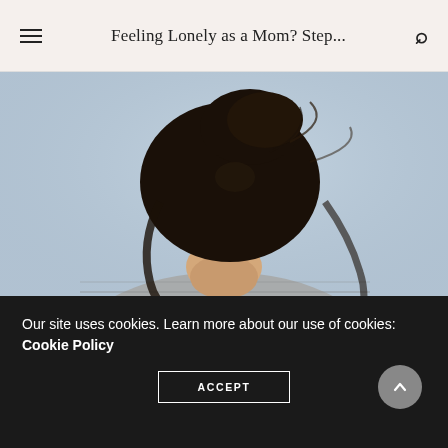Feeling Lonely as a Mom? Step...
[Figure (photo): Back view of a woman with dark hair in a bun wearing a grey knit sweater, photographed against a soft blue-grey background]
MENTAL HEALTH, RELATIONSHIPS, STORIES — JULY 9, 2021
Our site uses cookies. Learn more about our use of cookies: Cookie Policy
ACCEPT